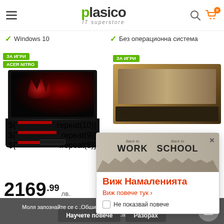plasico IT superstore
✓ Windows 10
✓ Без операционна система
[Figure (photo): Gaming laptop product photo - Acer Nitro with red backlit keyboard and red splash screen, tagged 'ЗА ИГРИ' and 'ACER NITRO', priced at 2169.99 лв.]
[Figure (photo): Second gaming laptop product photo tagged 'ЗА ИГРИ', partially obscured by popup]
2169.99 лв.
[Figure (screenshot): Popup overlay showing 'Back to WORK / Back to SCHOOL' banner with text 'Виж Намаленията', link 'Виж повече тук ›', and checkbox 'Не показвай повече']
Моля запознайте се с „Общи условия, Лични данни и Бискви използвате този уебсайт.
Научете повече
Разбрах